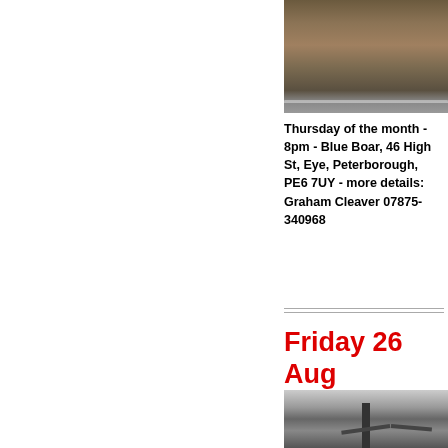[Figure (photo): Photograph of a stone building with hedgerow along a road, taken from street level]
Thursday of the month - 8pm - Blue Boar, 46 High St, Eye, Peterborough, PE6 7UY - more details: Graham Cleaver 07875-340968
Friday 26 Aug
[Figure (photo): Photograph of a gate or barrier structure, partially visible at bottom of page]